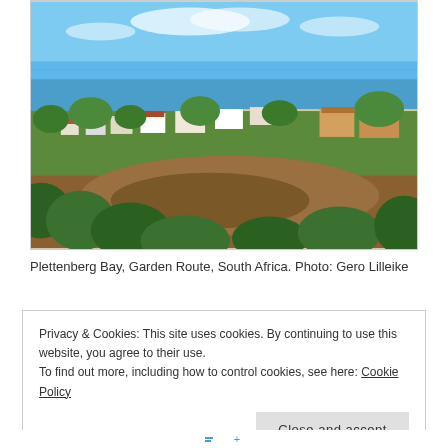[Figure (photo): Aerial/elevated panoramic view of Plettenberg Bay, Garden Route, South Africa, showing coastal town with houses among trees, a wetland/estuary in the foreground, blue ocean and a headland in the background under a blue sky.]
Plettenberg Bay, Garden Route, South Africa. Photo: Gero Lilleike
Privacy & Cookies: This site uses cookies. By continuing to use this website, you agree to their use.
To find out more, including how to control cookies, see here: Cookie Policy